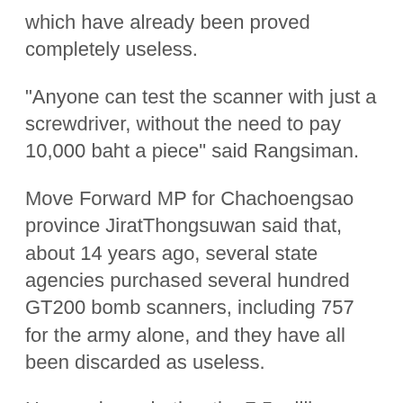which have already been proved completely useless.
“Anyone can test the scanner with just a screwdriver, without the need to pay 10,000 baht a piece” said Rangsiman.
Move Forward MP for Chachoengsao province JiratThongsuwan said that, about 14 years ago, several state agencies purchased several hundred GT200 bomb scanners, including 757 for the army alone, and they have all been discarded as useless.
He wonders whether the 7.5 million baht spending of taxpayers’ money was actually in an attempt to clear a few generals responsible for the procurement of the devices of any wrongdoing.